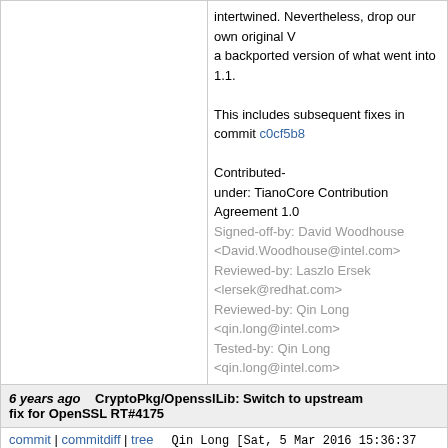intertwined. Nevertheless, drop our own original V... a backported version of what went into 1.1.

This includes subsequent fixes in commit c0cf5b8...

Contributed-
under: TianoCore Contribution Agreement 1.0
Signed-off-by: David Woodhouse <David.Woodhouse@intel.com>
Reviewed-by: Laszlo Ersek <lersek@redhat.com>
Reviewed-by: Qin Long <qin.long@intel.com>
Tested-by: Qin Long <qin.long@intel.com>
6 years ago   CryptoPkg/OpensslLib: Switch to upstream fix for OpenSSL RT#4175
commit | commitdiff | tree   Qin Long [Sat, 5 Mar 2016 15:36:37 +0000 (23:36 +0800)]
CryptoPkg/OpensslLib: Switch to upstream fix for...

A different fix for the PKCS7_verify() regression o... signatures has landed in the OpenSSL 1.0.2 bran... and will be present in the 1.0.2g release.

Contributed-
under: TianoCore Contribution Agreement 1.0
Signed-off-by: David Woodhouse <David.Woodhouse@intel.com>
Reviewed-by: Laszlo Ersek